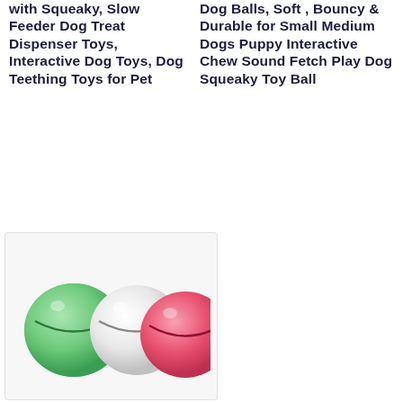with Squeaky, Slow Feeder Dog Treat Dispenser Toys, Interactive Dog Toys, Dog Teething Toys for Pet
Dog Balls, Soft , Bouncy & Durable for Small Medium Dogs Puppy Interactive Chew Sound Fetch Play Dog Squeaky Toy Ball
[Figure (photo): Three dog balls: one green, one white, one pink/red, shown side by side against a light background]